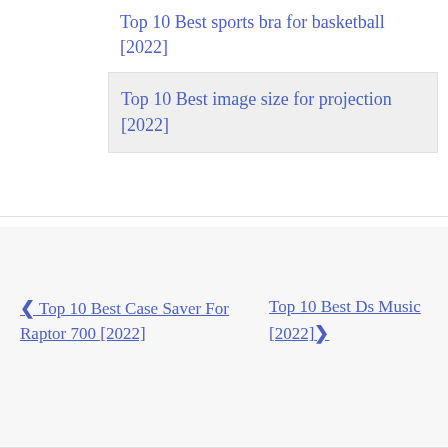Top 10 Best sports bra for basketball [2022]
Top 10 Best image size for projection [2022]
← Top 10 Best Case Saver For Raptor 700 [2022]
Top 10 Best Ds Music [2022] →